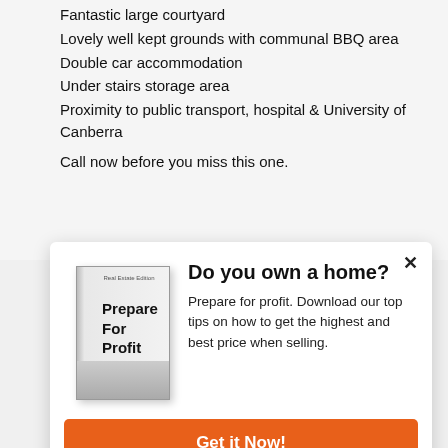Reverse cycle air conditioning
Fantastic large courtyard
Lovely well kept grounds with communal BBQ area
Double car accommodation
Under stairs storage area
Proximity to public transport, hospital & University of Canberra
Call now before you miss this one.
[Figure (infographic): Popup modal with book cover image titled 'Prepare For Profit - Real Estate Edition', heading 'Do you own a home?', description text about downloading tips, and orange 'Get it Now!' button.]